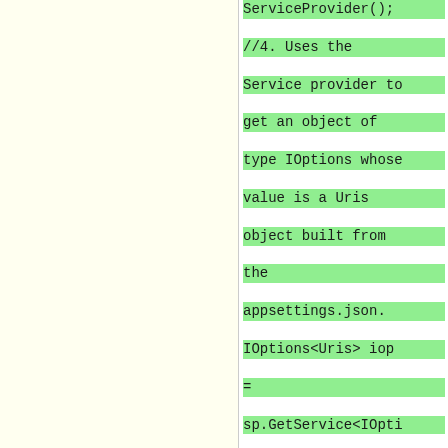[Figure (screenshot): Two-column layout: left panel is blank cream/yellow background, right panel shows code snippet with green highlighted lines showing C# code comments and code for using IOptions<Uris>, getting service provider, extracting Uris object, and registering a service with dependency injection container.]